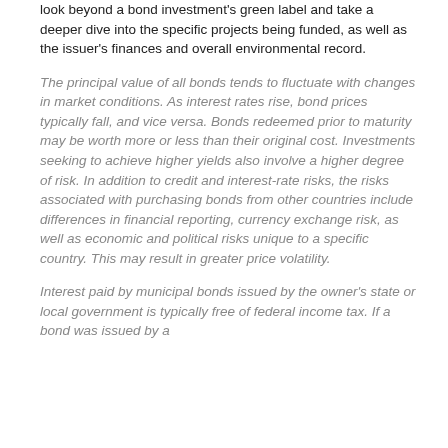look beyond a bond investment's green label and take a deeper dive into the specific projects being funded, as well as the issuer's finances and overall environmental record.
The principal value of all bonds tends to fluctuate with changes in market conditions. As interest rates rise, bond prices typically fall, and vice versa. Bonds redeemed prior to maturity may be worth more or less than their original cost. Investments seeking to achieve higher yields also involve a higher degree of risk. In addition to credit and interest-rate risks, the risks associated with purchasing bonds from other countries include differences in financial reporting, currency exchange risk, as well as economic and political risks unique to a specific country. This may result in greater price volatility.
Interest paid by municipal bonds issued by the owner's state or local government is typically free of federal income tax. If a bond was issued by a